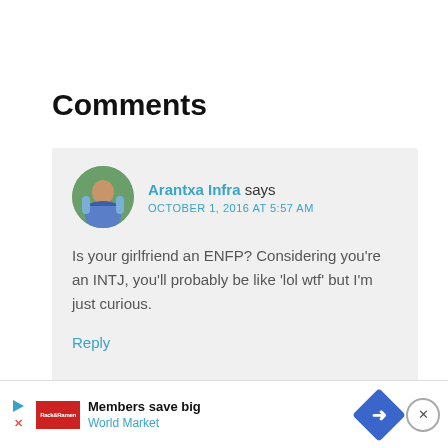Comments
Arantxa Infra says
OCTOBER 1, 2016 AT 5:57 AM

Is your girlfriend an ENFP? Considering you're an INTJ, you'll probably be like 'lol wtf' but I'm just curious.

Reply
[Figure (infographic): Advertisement banner: Members save big, World Market, with play/close buttons and navigation arrow icon]